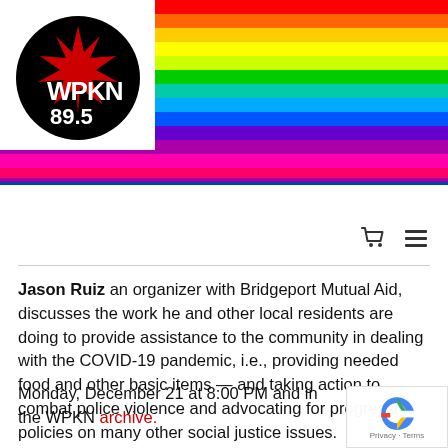[Figure (logo): WPKN 89.5 radio station logo — black circle with white text and a red starburst graphic, surrounded by rainbow horizontal stripes]
Jason Ruiz an organizer with Bridgeport Mutual Aid, discusses the work he and other local residents are doing to provide assistance to the community in dealing with the COVID-19 pandemic, i.e., providing needed food and other basic items — and taking action to combat police violence and advocating for progressive policies on many other social justice issues.
Monday, December 21 at 8:00 PM and in the WPKN archive.